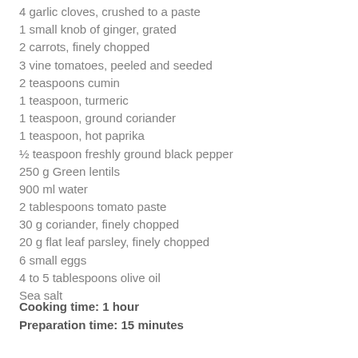4 garlic cloves, crushed to a paste
1 small knob of ginger, grated
2 carrots, finely chopped
3 vine tomatoes, peeled and seeded
2 teaspoons cumin
1 teaspoon, turmeric
1 teaspoon, ground coriander
1 teaspoon, hot paprika
½ teaspoon freshly ground black pepper
250 g Green lentils
900 ml water
2 tablespoons tomato paste
30 g coriander, finely chopped
20 g flat leaf parsley, finely chopped
6 small eggs
4 to 5 tablespoons olive oil
Sea salt
Cooking time: 1 hour
Preparation time: 15 minutes